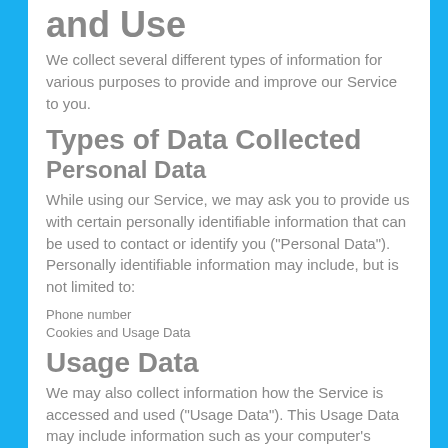Information Collection and Use
We collect several different types of information for various purposes to provide and improve our Service to you.
Types of Data Collected
Personal Data
While using our Service, we may ask you to provide us with certain personally identifiable information that can be used to contact or identify you ("Personal Data"). Personally identifiable information may include, but is not limited to:
Phone number
Cookies and Usage Data
Usage Data
We may also collect information how the Service is accessed and used ("Usage Data"). This Usage Data may include information such as your computer's Internet Protocol address (e.g. IP address), browser type, browser version, the pages of our Service that you visit, the time and date of your visit, the time spent on those pages, unique device identifiers